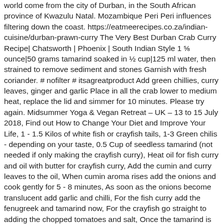world come from the city of Durban, in the South African province of Kwazulu Natal. Mozambique Peri Peri influences filtering down the coast. https://eatmeerecipes.co.za/indian-cuisine/durban-prawn-curry The Very Best Durban Crab Curry Recipe| Chatsworth | Phoenix | South Indian Style 1 ⅝ ounce|50 grams tamarind soaked in ½ cup|125 ml water, then strained to remove sediment and stones Garnish with fresh coriander. # nofilter # itsagreatproduct Add green chillies, curry leaves, ginger and garlic Place in all the crab lower to medium heat, replace the lid and simmer for 10 minutes. Please try again. Midsummer Yoga & Vegan Retreat – UK – 13 to 15 July 2018, Find out How to Change Your Diet and Improve Your Life, 1 - 1.5 Kilos of white fish or crayfish tails, 1-3 Green chilis - depending on your taste, 0.5 Cup of seedless tamarind (not needed if only making the crayfish curry), Heat oil for fish curry and oil with butter for crayfish curry, Add the cumin and curry leaves to the oil, When cumin aroma rises add the onions and cook gently for 5 - 8 minutes, As soon as the onions become translucent add garlic and chilli, For the fish curry add the fenugreek and tamarind now, For the crayfish go straight to adding the chopped tomatoes and salt, Once the tamarind is well mixed, add the chopped tomatoes and salt to the fish curry, Cook gently for about 15 minutes until oil appears on the surface, Make sure your rice and chapattis are ready, Add the fish, cover and cook for around 5 minutes, Finish by garnishing with chopped coriander. https://www.food.com/recipe/bunny-chow-and-its-durban-curry-220077